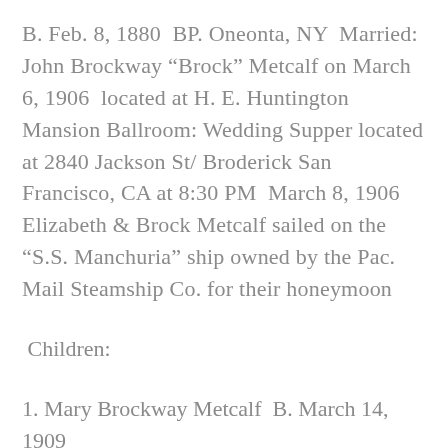B. Feb. 8, 1880  BP. Oneonta, NY  Married: John Brockway “Brock” Metcalf on March 6, 1906  located at H. E. Huntington Mansion Ballroom: Wedding Supper located at 2840 Jackson St/ Broderick San Francisco, CA at 8:30 PM  March 8, 1906 Elizabeth & Brock Metcalf sailed on the “S.S. Manchuria” ship owned by the Pac. Mail Steamship Co. for their honeymoon
Children:
1. Mary Brockway Metcalf  B. March 14, 1909